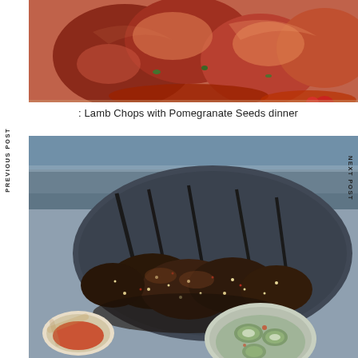[Figure (photo): Close-up of glazed meat pieces with herbs and sauce on a plate, top portion of page]
Lamb Chops with Pomegranate Seeds dinner
PREVIOUS POST
NEXT POST
[Figure (photo): Lamb chops with sesame/pomegranate seeds on a dark oval plate, with bowl of cucumber salad and sauce bowl, food blog style photo]